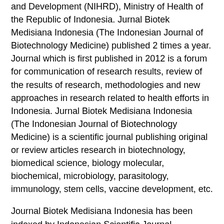and Development (NIHRD), Ministry of Health of the Republic of Indonesia. Jurnal Biotek Medisiana Indonesia (The Indonesian Journal of Biotechnology Medicine) published 2 times a year. Journal which is first published in 2012 is a forum for communication of research results, review of the results of research, methodologies and new approaches in research related to health efforts in Indonesia. Jurnal Biotek Medisiana Indonesia (The Indonesian Journal of Biotechnology Medicine) is a scientific journal publishing original or review articles research in biotechnology, biomedical science, biology molecular, biochemical, microbiology, parasitology, immunology, stem cells, vaccine development, etc.
Journal Biotek Medisiana Indonesia has been indexed by Indonesian Scientific Journal Database; Indonesian Publication Index; Bielefeld Academic Search Engine;  Open Academic Journal Index (OAJI); Garba Rujukan Digital (Garuda); and Science and Technology Index (Sinta).